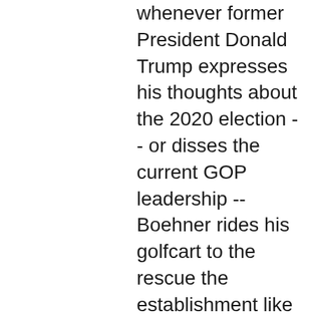whenever former President Donald Trump expresses his thoughts about the 2020 election -- or disses the current GOP leadership -- Boehner rides his golfcart to the rescue the establishment like a chain smoking, Merlot slurping, always emotional avenging angel on a mission to defend the sorry virtues of the swamp creatures. One quickly forgets that the Ohioan was basically drummed out of town (Washington, DC) in October, 2015, because he couldn't take advantage of sizable party majorities to further the conservative cause. Who is he to be commenting from afar now?
Naturally, the establishment media loves Boehner's blabbering. Anything